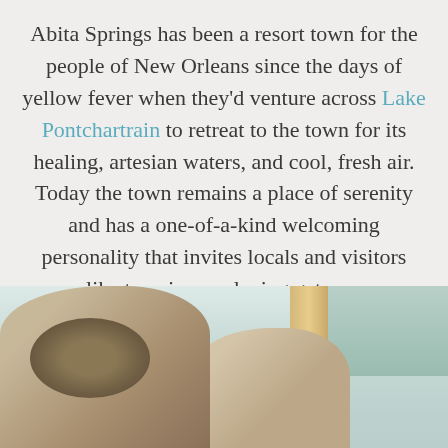Abita Springs has been a resort town for the people of New Orleans since the days of yellow fever when they'd venture across Lake Pontchartrain to retreat to the town for its healing, artesian waters, and cool, fresh air. Today the town remains a place of serenity and has a one-of-a-kind welcoming personality that invites locals and visitors alike to enjoy a relaxing getaway.
[Figure (photo): Photo of two people (likely children or women) from behind, with one wearing a headband/hair accessory, standing near a wooden post with trees in background]